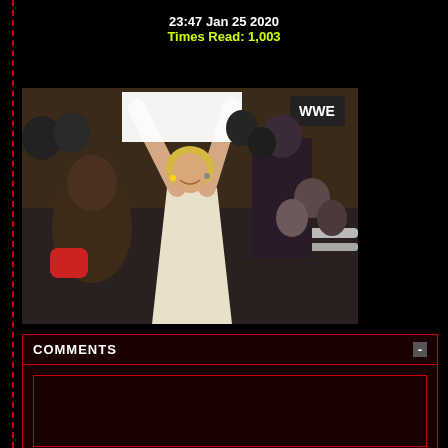23:47 Jan 25 2020
Times Read: 1,003
[Figure (photo): A blonde woman in a white dress raises both arms above her head holding a white sign/placard inside a WWE wrestling ring. A muscular man is visible to her left, and audience members are in the background. The WWE logo is visible in the upper right corner.]
COMMENTS